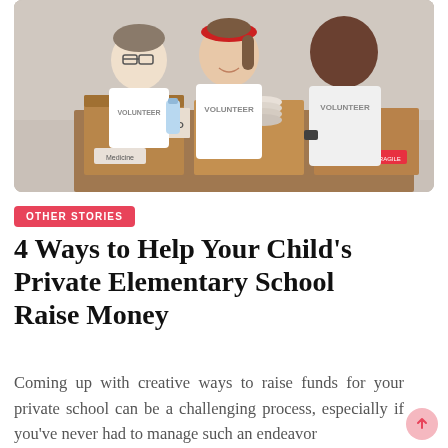[Figure (photo): Three volunteers wearing white t-shirts labeled 'VOLUNTEER' sorting cardboard boxes with labels including 'Aid' and 'Medicine'. A woman with a red headband is in the center smiling.]
OTHER STORIES
4 Ways to Help Your Child's Private Elementary School Raise Money
Coming up with creative ways to raise funds for your private school can be a challenging process, especially if you've never had to manage such an endeavor